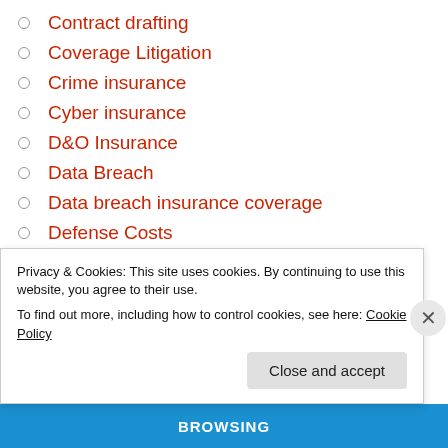Contract drafting
Coverage Litigation
Crime insurance
Cyber insurance
D&O Insurance
Data Breach
Data breach insurance coverage
Defense Costs
Denial-of-service
Discovery
Duty to defend
Environmental insurance coverage
Excess Insurance
Privacy & Cookies: This site uses cookies. By continuing to use this website, you agree to their use.
To find out more, including how to control cookies, see here: Cookie Policy
Close and accept